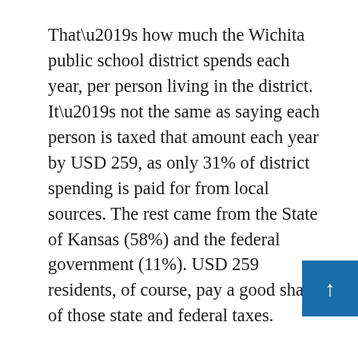That’s how much the Wichita public school district spends each year, per person living in the district. It’s not the same as saying each person is taxed that amount each year by USD 259, as only 31% of district spending is paid for from local sources. The rest came from the State of Kansas (58%) and the federal government (11%). USD 259 residents, of course, pay a good share of those state and federal taxes.
That number — $1,749 in spending by USD 259 per year for each person living in the district — gives us an idea of the huge vol of resources that the district has at its